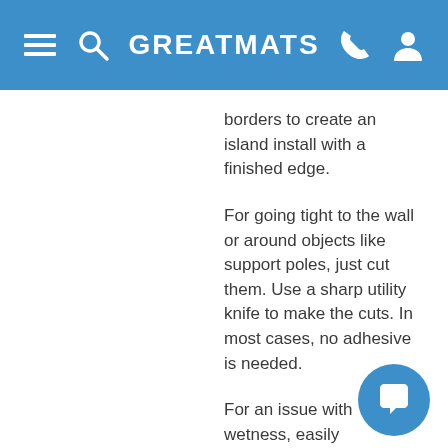GREATMATS
borders to create an island install with a finished edge.
For going tight to the wall or around objects like support poles, just cut them. Use a sharp utility knife to make the cuts. In most cases, no adhesive is needed.
For an issue with wetness, easily disassemble them and pick them up. For